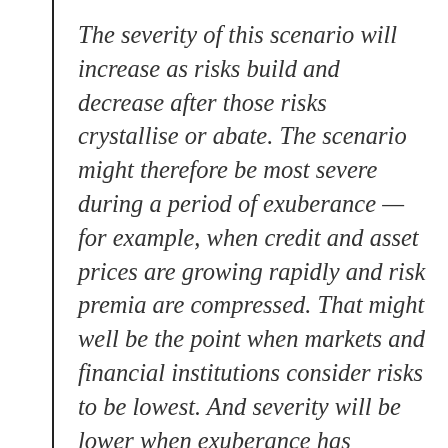The severity of this scenario will increase as risks build and decrease after those risks crystallise or abate. The scenario might therefore be most severe during a period of exuberance — for example, when credit and asset prices are growing rapidly and risk premia are compressed. That might well be the point when markets and financial institutions consider risks to be lowest. And severity will be lower when exuberance has corrected — often the time at which markets assess risks to be largest. In leaning against these tendencies, the stress-testing framework will lean against the